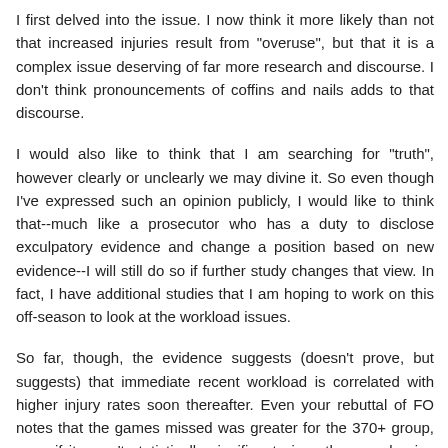I first delved into the issue. I now think it more likely than not that increased injuries result from "overuse", but that it is a complex issue deserving of far more research and discourse. I don't think pronouncements of coffins and nails adds to that discourse.
I would also like to think that I am searching for "truth", however clearly or unclearly we may divine it. So even though I've expressed such an opinion publicly, I would like to think that--much like a prosecutor who has a duty to disclose exculpatory evidence and change a position based on new evidence--I will still do so if further study changes that view. In fact, I have additional studies that I am hoping to work on this off-season to look at the workload issues.
So far, though, the evidence suggests (doesn't prove, but suggests) that immediate recent workload is correlated with higher injury rates soon thereafter. Even your rebuttal of FO notes that the games missed was greater for the 370+ group, even if it wasn't statistically significant given the sample size and relative change in games played.